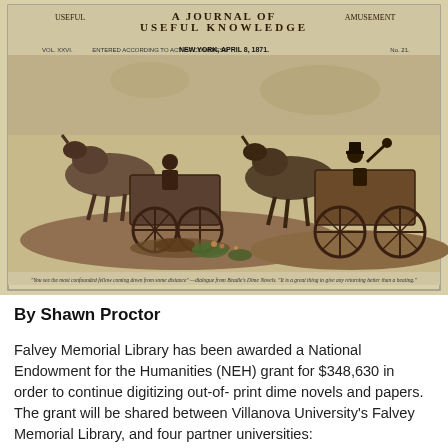[Figure (illustration): Scanned front page of an 1871 illustrated newspaper 'A Journal of Useful Knowledge and Amusement', Vol. XXVI, New York, April 8, 1871, No. 21. The image shows a Victorian-era engraving of two horse-drawn carriages on a road, with figures seated atop them. One figure waves in the air. There is a caption below the engraving in small text.]
By Shawn Proctor
Falvey Memorial Library has been awarded a National Endowment for the Humanities (NEH) grant for $348,630 in order to continue digitizing out-of-print dime novels and papers. The grant will be shared between Villanova University's Falvey Memorial Library, and four partner universities: